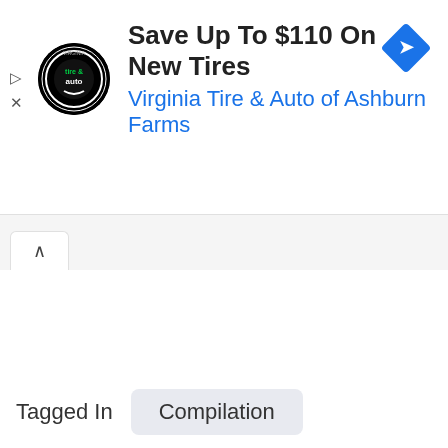[Figure (screenshot): Advertisement banner for Virginia Tire & Auto of Ashburn Farms showing logo, title 'Save Up To $110 On New Tires', subtitle link, and blue diamond navigation icon]
Save Up To $110 On New Tires
Virginia Tire & Auto of Ashburn Farms
Tagged In
Compilation